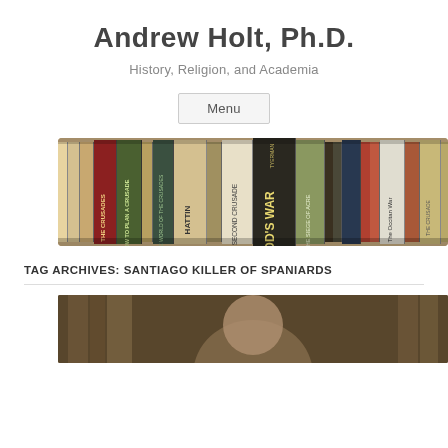Andrew Holt, Ph.D.
History, Religion, and Academia
Menu
[Figure (photo): A row of book spines on a shelf, including titles about the Crusades such as 'God's War', 'The Crusades', 'Hattin', 'The Second Crusade', 'The Siege of Acre', 'The Occitan War', and others.]
TAG ARCHIVES: SANTIAGO KILLER OF SPANIARDS
[Figure (photo): Partial image of a person, cropped at the bottom of the page, appearing to be in a historical or academic setting.]